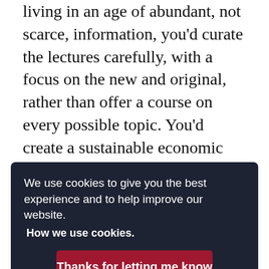living in an age of abundant, not scarce, information, you'd curate the lectures carefully, with a focus on the new and original, rather than offer a course on every possible topic. You'd create a sustainable economic model by focusing on technological rather than physical infrastructure, and by getting people of means to pay for a
We use cookies to give you the best experience and to help improve our website. How we use cookies.
Thanks for letting me know
hall. Why not fulfil the university's